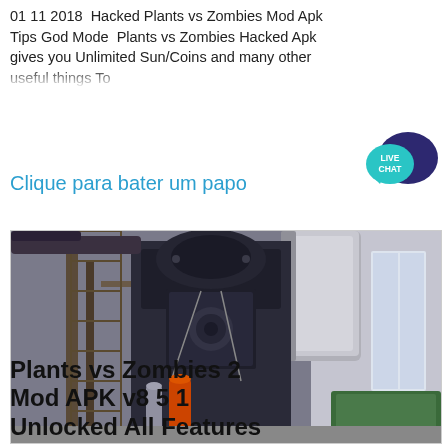01 11 2018  Hacked Plants vs Zombies Mod Apk Tips God Mode  Plants vs Zombies Hacked Apk gives you Unlimited Sun/Coins and many other useful things To
Clique para bater um papo
[Figure (illustration): Live Chat badge with speech bubbles in teal and dark blue/purple, text reads LIVE CHAT]
[Figure (photo): Industrial machinery interior showing large dark metal equipment, pipes, ducts, and industrial components in a factory or plant setting]
Plants vs Zombies 2 Mod APK v8 5 1 Unlocked All Features